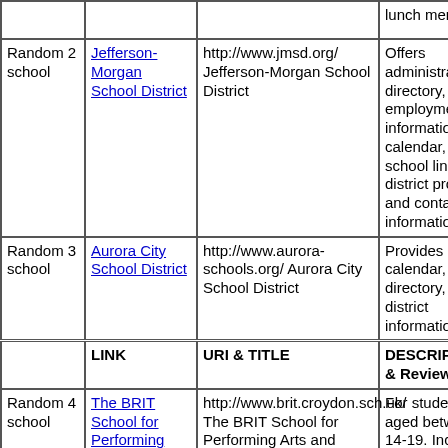|  | LINK | URI & TITLE | DESCRIPTION & Review |
| --- | --- | --- | --- |
|  |  |  | lunch menu. |
| Random 2 school | Jefferson-Morgan School District | http://www.jmsd.org/ Jefferson-Morgan School District | Offers administrative directory, employment information, calendar, school links, district profile, and contact information. |
| Random 3 school | Aurora City School District | http://www.aurora-schools.org/ Aurora City School District | Provides calendar, staff directory, and district information. |
|  | LINK | URI & TITLE | DESCRIPTION & Review |
| Random 4 school | The BRIT School for Performing Arts and Technology | http://www.brit.croydon.sch.uk/ The BRIT School for Performing Arts and Technology | For students aged between 14-19. Includes details of the curriculum and... |